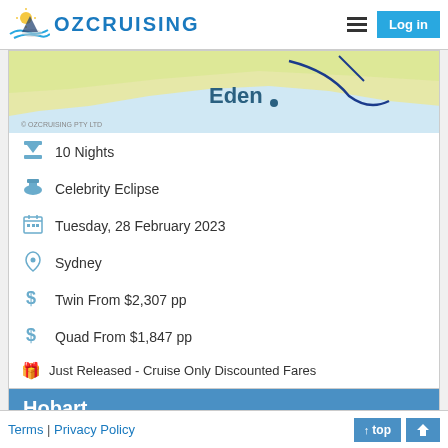OZCRUISING | Log in
[Figure (map): Map showing Eden location on Australian coast with blue route line]
10 Nights
Celebrity Eclipse
Tuesday, 28 February 2023
Sydney
Twin From $2,307 pp
Quad From $1,847 pp
Just Released - Cruise Only Discounted Fares
[Figure (logo): Celebrity Cruises X logo with text 'Celebrity Cruises']
Hobart
[Figure (map): Partial map bar showing Hobart area in yellow and blue]
Terms | Privacy Policy   top  home